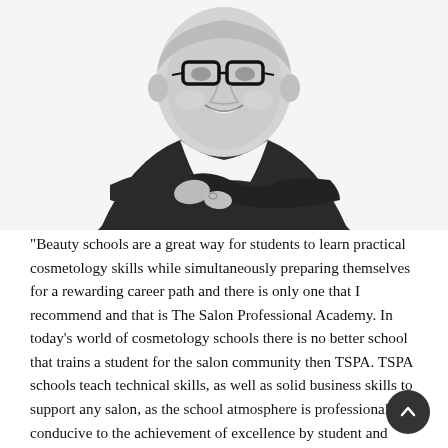[Figure (photo): Black and white portrait photo of a smiling person wearing glasses and a dark jacket with arms crossed]
“Beauty schools are a great way for students to learn practical cosmetology skills while simultaneously preparing themselves for a rewarding career path and there is only one that I recommend and that is The Salon Professional Academy. In today’s world of cosmetology schools there is no better school that trains a student for the salon community then TSPA. TSPA schools teach technical skills, as well as solid business skills to support any salon, as the school atmosphere is professional and conducive to the achievement of excellence by student and faculty alike based on learner-focused education. The educators at TSPA find the knowledge and guidance to prepare a cosmetology student for a long successful future in the